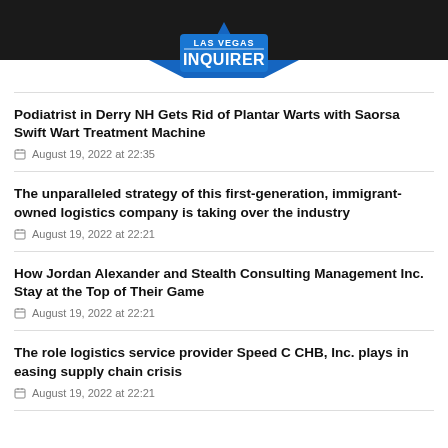Las Vegas Inquirer
Podiatrist in Derry NH Gets Rid of Plantar Warts with Saorsa Swift Wart Treatment Machine
August 19, 2022 at 22:35
The unparalleled strategy of this first-generation, immigrant-owned logistics company is taking over the industry
August 19, 2022 at 22:21
How Jordan Alexander and Stealth Consulting Management Inc. Stay at the Top of Their Game
August 19, 2022 at 22:21
The role logistics service provider Speed C CHB, Inc. plays in easing supply chain crisis
August 19, 2022 at 22:21